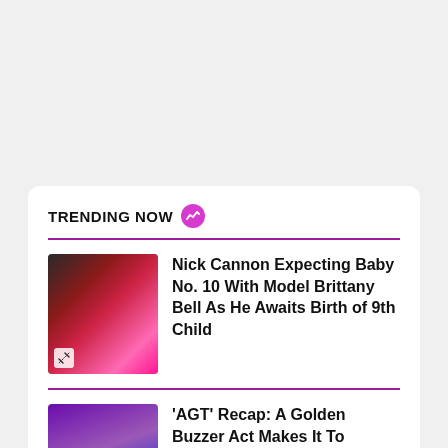TRENDING NOW
[Figure (photo): Photo of Nick Cannon and Brittany Bell together, festive setting]
Nick Cannon Expecting Baby No. 10 With Model Brittany Bell As He Awaits Birth of 9th Child
[Figure (photo): Photo of a performer on stage with purple lighting]
'AGT' Recap: A Golden Buzzer Act Makes It To Season 17 Finals After Tense Results Show